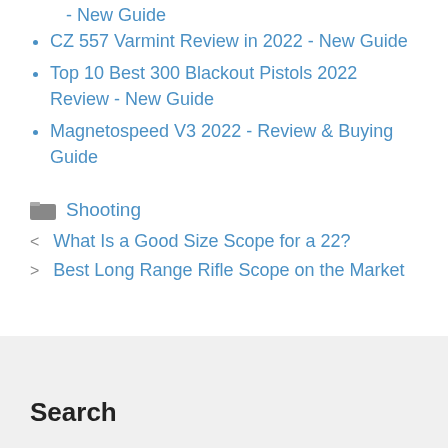- New Guide
CZ 557 Varmint Review in 2022 - New Guide
Top 10 Best 300 Blackout Pistols 2022 Review - New Guide
Magnetospeed V3 2022 - Review & Buying Guide
Shooting
< What Is a Good Size Scope for a 22?
> Best Long Range Rifle Scope on the Market
Search